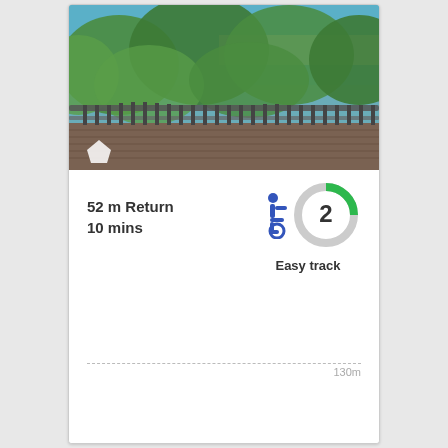[Figure (photo): Wooden deck lookout with metal railings, surrounded by green trees, with ocean/beach visible in background]
52 m Return
10 mins
[Figure (infographic): Wheelchair accessibility icon (blue) next to a circular progress indicator showing number 2, with green arc indicating easy difficulty rating]
Easy track
130m